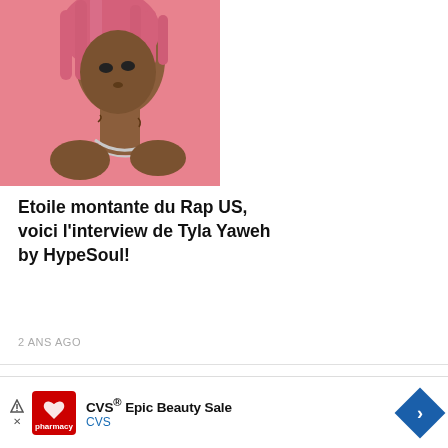[Figure (photo): Young male rap artist with pink/rose-colored dreadlocks and silver chain necklace, photographed against a pink/coral background. Visible tattoos on neck and chest area. Photo is cropped at the top and bottom.]
Etoile montante du Rap US, voici l'interview de Tyla Yaweh by HypeSoul!
2 ANS AGO
[Figure (other): White/blank advertisement box with a light gray border]
[Figure (other): CVS pharmacy advertisement banner: CVS Epic Beauty Sale with CVS logo and navigation arrow icon]